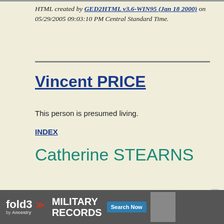HTML created by GED2HTML v3.6-WIN95 (Jan 18 2000) on 05/29/2005 09:03:10 PM Central Standard Time.
Vincent PRICE
This person is presumed living.
INDEX
Catherine STEARNS
ABT 1730 - ____
ID Number: I79780